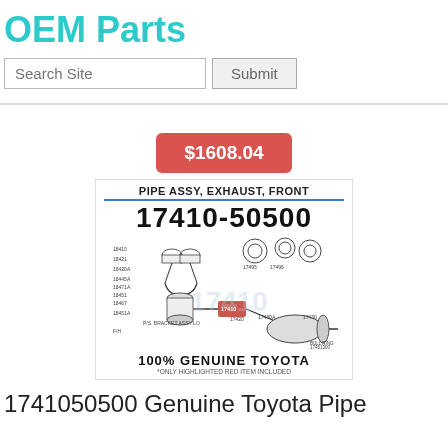OEM Parts
Search Site  Submit
$1608.04
[Figure (illustration): Product listing image for Toyota part 17410-50500 - PIPE ASSY, EXHAUST, FRONT. Shows engineering diagram of exhaust pipe assembly with part number 17410-50500, label '100% GENUINE TOYOTA' and sub-text '*ONLY HIGHLIGHTED RED ITEM INCLUDED']
1741050500 Genuine Toyota Pipe